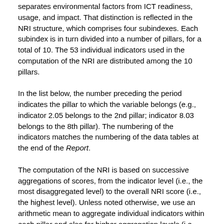separates environmental factors from ICT readiness, usage, and impact. That distinction is reflected in the NRI structure, which comprises four subindexes. Each subindex is in turn divided into a number of pillars, for a total of 10. The 53 individual indicators used in the computation of the NRI are distributed among the 10 pillars.
In the list below, the number preceding the period indicates the pillar to which the variable belongs (e.g., indicator 2.05 belongs to the 2nd pillar; indicator 8.03 belongs to the 8th pillar). The numbering of the indicators matches the numbering of the data tables at the end of the Report.
The computation of the NRI is based on successive aggregations of scores, from the indicator level (i.e., the most disaggregated level) to the overall NRI score (i.e., the highest level). Unless noted otherwise, we use an arithmetic mean to aggregate individual indicators within each pillar and also for higher aggregation levels (i.e., pillars and subindexes).a
Throughout the Report, scores in the various dimensions of the